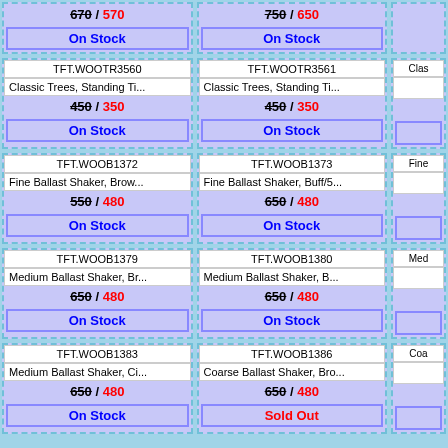| Product ID | Description | Price | Status |
| --- | --- | --- | --- |
| TFT.WOOTR3560 | Classic Trees, Standing Ti... | 670 / 350 | On Stock |
| TFT.WOOTR3561 | Classic Trees, Standing Ti... | 450 / 350 | On Stock |
| TFT.WOOB1372 | Fine Ballast Shaker, Brow... | 550 / 480 | On Stock |
| TFT.WOOB1373 | Fine Ballast Shaker, Buff/5... | 650 / 480 | On Stock |
| TFT.WOOB1379 | Medium Ballast Shaker, Br... | 650 / 480 | On Stock |
| TFT.WOOB1380 | Medium Ballast Shaker, B... | 650 / 480 | On Stock |
| TFT.WOOB1383 | Medium Ballast Shaker, Ci... | 650 / 480 | On Stock |
| TFT.WOOB1386 | Coarse Ballast Shaker, Bro... | 650 / 480 | Sold Out |